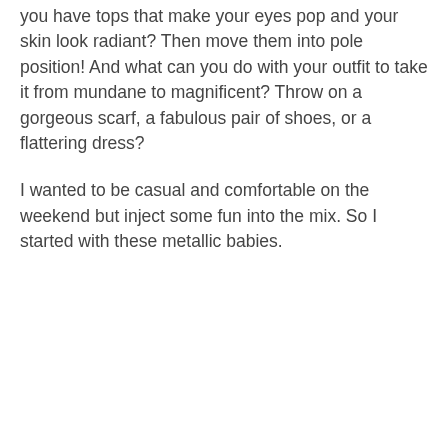you have tops that make your eyes pop and your skin look radiant? Then move them into pole position! And what can you do with your outfit to take it from mundane to magnificent? Throw on a gorgeous scarf, a fabulous pair of shoes, or a flattering dress?
I wanted to be casual and comfortable on the weekend but inject some fun into the mix. So I started with these metallic babies.